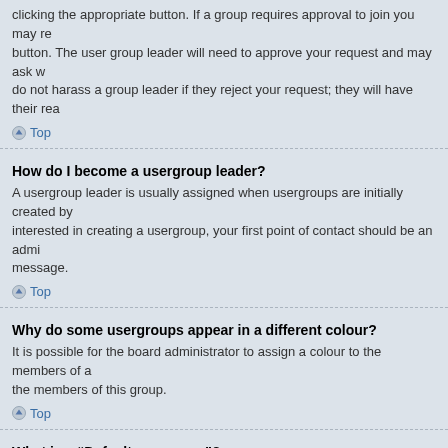clicking the appropriate button. If a group requires approval to join you may re button. The user group leader will need to approve your request and may ask w do not harass a group leader if they reject your request; they will have their rea
Top
How do I become a usergroup leader?
A usergroup leader is usually assigned when usergroups are initially created by interested in creating a usergroup, your first point of contact should be an admi message.
Top
Why do some usergroups appear in a different colour?
It is possible for the board administrator to assign a colour to the members of a the members of this group.
Top
What is a “Default usergroup”?
If you are a member of more than one usergroup, your default is used to determ should be shown for you by default. The board administrator may grant you per usergroup via your User Control Panel.
Top
What is “The team” link?
This page provides you with a list of board staff, including board administrators as the forums they moderate.